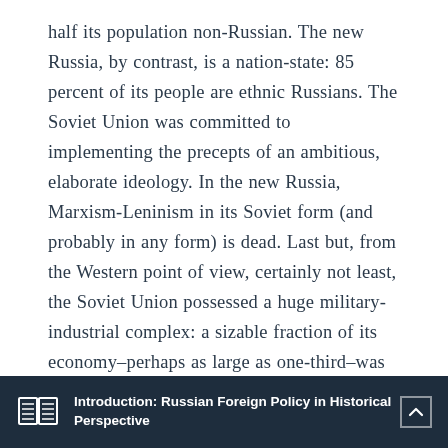half its population non-Russian. The new Russia, by contrast, is a nation-state: 85 percent of its people are ethnic Russians. The Soviet Union was committed to implementing the precepts of an ambitious, elaborate ideology. In the new Russia, Marxism-Leninism in its Soviet form (and probably in any form) is dead. Last but, from the Western point of view, certainly not least, the Soviet Union possessed a huge military-industrial complex: a sizable fraction of its economy–perhaps as large as one-third–was devoted to military purposes. The new Russia's armed forces are less numerous and weaker, and its military industries much smaller,
Introduction: Russian Foreign Policy in Historical Perspective